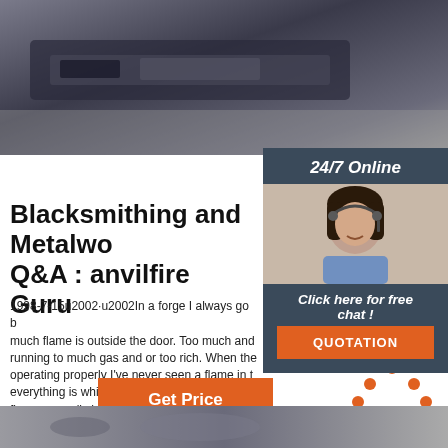[Figure (photo): Industrial machinery photo at top of page]
[Figure (photo): Customer service representative with headset - sidebar image with '24/7 Online' header, 'Click here for free chat!' text, and 'QUOTATION' button]
Blacksmithing and Metalworking Q&A : anvilfire Guru
1998-7-15u2002·u2002In a forge I always go by how much flame is outside the door. Too much and you're running to much gas and or too rich. When the forge is operating properly I've never seen a flame in the fire, everything is white hot including the burning gas. The flame normally has two cones, a bright white blue inner cone and a large dark blue outer cone.
[Figure (other): Get Price orange button]
[Figure (logo): TOP logo with orange dots above it]
[Figure (photo): Photo at bottom of page, partially visible]